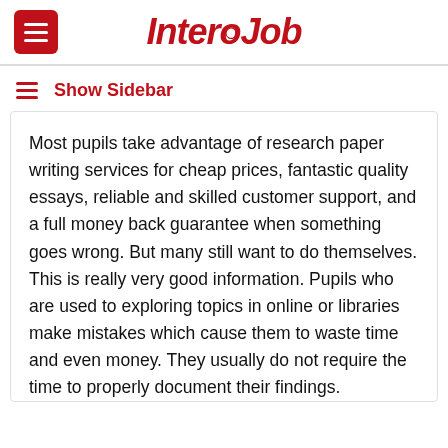[Figure (logo): InterJob logo in bold italic red text with hamburger menu button on the left]
Show Sidebar
Most pupils take advantage of research paper writing services for cheap prices, fantastic quality essays, reliable and skilled customer support, and a full money back guarantee when something goes wrong. But many still want to do themselves. This is really very good information. Pupils who are used to exploring topics in online or libraries make mistakes which cause them to waste time and even money. They usually do not require the time to properly document their findings.